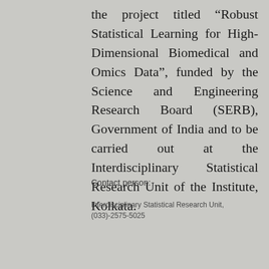the project titled “Robust Statistical Learning for High-Dimensional Biomedical and Omics Data”, funded by the Science and Engineering Research Board (SERB), Government of India and to be carried out at the Interdisciplinary Statistical Research Unit of the Institute, Kolkata.
Contact person:
Interdisciplinary Statistical Research Unit, (033)-2575-5025